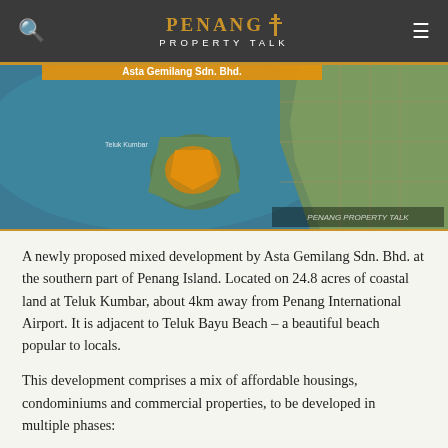Penang Property Talk
[Figure (map): Satellite/aerial map view of coastal area at Teluk Kumbar, Penang Island, showing highlighted land parcel in orange/yellow near the coast, with text label 'Asta Gemilang Sdn. Bhd.' and watermark 'Penang Property Talk']
A newly proposed mixed development by Asta Gemilang Sdn. Bhd. at the southern part of Penang Island. Located on 24.8 acres of coastal land at Teluk Kumbar, about 4km away from Penang International Airport. It is adjacent to Teluk Bayu Beach – a beautiful beach popular to locals.
This development comprises a mix of affordable housings, condominiums and commercial properties, to be developed in multiple phases:
Phase 1B: 46-storey affordable housing with 8